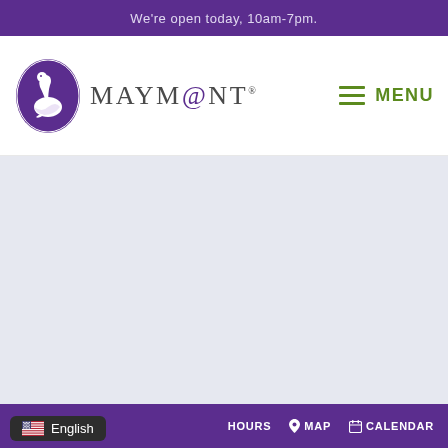We're open today, 10am-7pm.
[Figure (logo): Maymont logo: purple oval with white swan silhouette, alongside the text MAYMONT in serif letters, and a hamburger menu icon with MENU label in olive green]
[Figure (screenshot): Large light blue-gray main content area, empty/loading state]
English  HOURS  MAP  CALENDAR